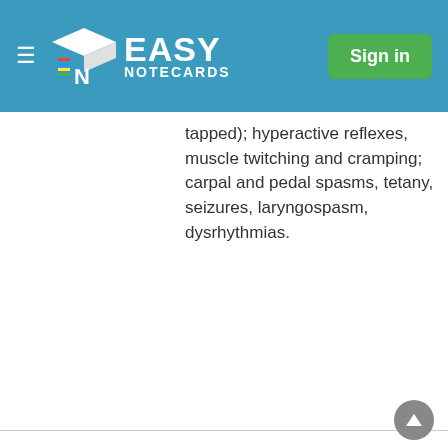Easy Notecards — Sign in
tapped); hyperactive reflexes, muscle twitching and cramping; carpal and pedal spasms, tetany, seizures, laryngospasm, dysrhythmias.
| Term | Details |
| --- | --- |
| Sodium | 136-145 mmol/dL
BOTH: Decreased level of consciousness (confusion, lethargy, coma)
High: perhaps thirst, seizures if develops rapidly or is very severe.
Low: seizures if develops rapidly or is very severe. Aka. Water intoxication; water excess |